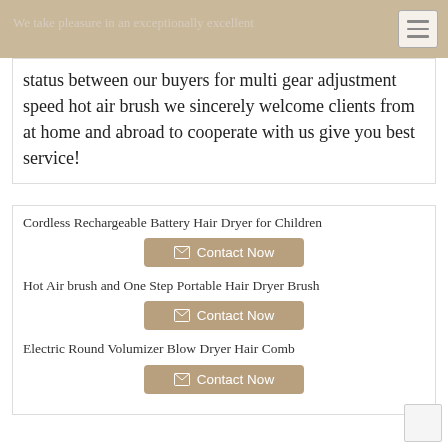We take pleasure in an exceptionally excellent
status between our buyers for multi gear adjustment speed hot air brush we sincerely welcome clients from at home and abroad to cooperate with us give you best service!
Cordless Rechargeable Battery Hair Dryer for Children
Contact Now
Hot Air brush and One Step Portable Hair Dryer Brush
Contact Now
Electric Round Volumizer Blow Dryer Hair Comb
Contact Now